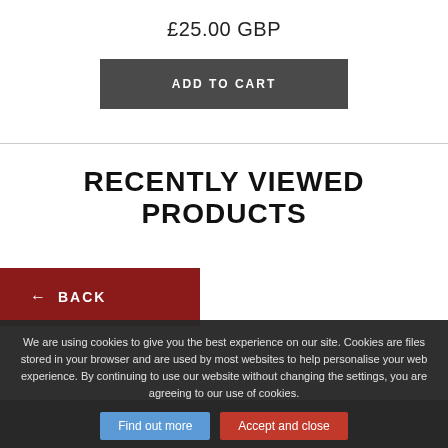£25.00 GBP
ADD TO CART
RECENTLY VIEWED PRODUCTS
← BACK
GET THE LATEST NEWS
We are using cookies to give you the best experience on our site. Cookies are files stored in your browser and are used by most websites to help personalise your web experience. By continuing to use our website without changing the settings, you are agreeing to our use of cookies.
Find out more
Accept and close